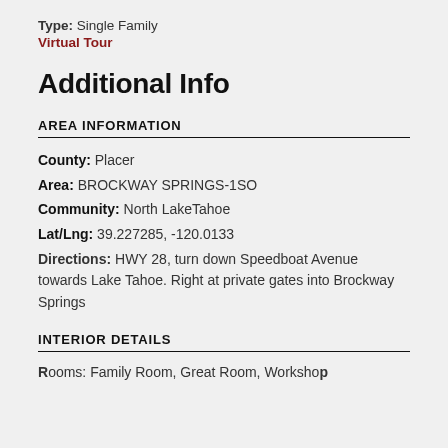Type: Single Family
Virtual Tour
Additional Info
AREA INFORMATION
County: Placer
Area: BROCKWAY SPRINGS-1SO
Community: North LakeTahoe
Lat/Lng: 39.227285, -120.0133
Directions: HWY 28, turn down Speedboat Avenue towards Lake Tahoe. Right at private gates into Brockway Springs
INTERIOR DETAILS
Rooms: Family Room, Great Room, Workshop